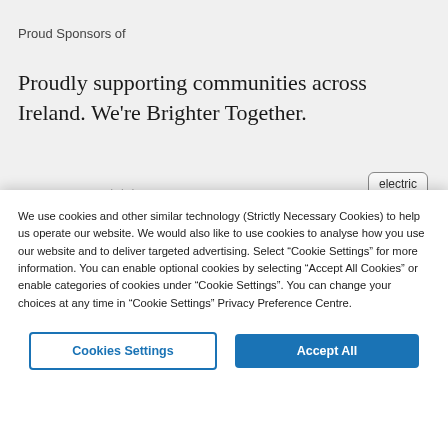Proud Sponsors of
Proudly supporting communities across Ireland. We're Brighter Together.
We use cookies and other similar technology (Strictly Necessary Cookies) to help us operate our website. We would also like to use cookies to analyse how you use our website and to deliver targeted advertising. Select “Cookie Settings” for more information. You can enable optional cookies by selecting “Accept All Cookies” or enable categories of cookies under “Cookie Settings”. You can change your choices at any time in “Cookie Settings” Privacy Preference Centre.
Cookies Settings
Accept All